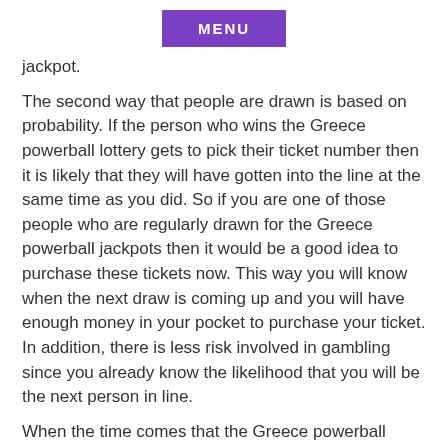MENU
jackpot.
The second way that people are drawn is based on probability. If the person who wins the Greece powerball lottery gets to pick their ticket number then it is likely that they will have gotten into the line at the same time as you did. So if you are one of those people who are regularly drawn for the Greece powerball jackpots then it would be a good idea to purchase these tickets now. This way you will know when the next draw is coming up and you will have enough money in your pocket to purchase your ticket. In addition, there is less risk involved in gambling since you already know the likelihood that you will be the next person in line.
When the time comes that the Greece powerball lottery